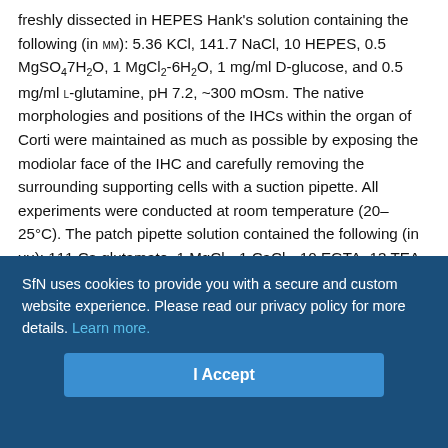freshly dissected in HEPES Hank's solution containing the following (in mM): 5.36 KCl, 141.7 NaCl, 10 HEPES, 0.5 MgSO4·7H2O, 1 MgCl2·6H2O, 1 mg/ml D-glucose, and 0.5 mg/ml L-glutamine, pH 7.2, ~300 mOsm. The native morphologies and positions of the IHCs within the organ of Corti were maintained as much as possible by exposing the modiolar face of the IHC and carefully removing the surrounding supporting cells with a suction pipette. All experiments were conducted at room temperature (20–25°C). The patch pipette solution contained the following (in mM): 111 Cs-glutamate, 1 MgCl2, 1 CaCl2, 10 EGTA, 13 TEA-Cl, 20 HEPES, 4 Mg-ATP, 0.3 Na-GTP and 1 L-glutathione, pH 7.3, ~290 mOsm. To visualize the Ca2+ hotspots and the ribbons, the Ca2+ indicator Fluo-4FF penta-K+ salt (0.8 mM; Life Technologies) and the TAMRA-conjugated
SfN uses cookies to provide you with a secure and custom website experience. Please read our privacy policy for more details. Learn more.